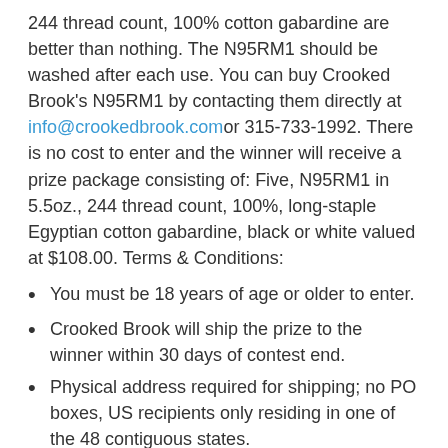244 thread count, 100% cotton gabardine are better than nothing. The N95RM1 should be washed after each use. You can buy Crooked Brook's N95RM1 by contacting them directly at info@crookedbrook.com or 315-733-1992. There is no cost to enter and the winner will receive a prize package consisting of: Five, N95RM1 in 5.5oz., 244 thread count, 100%, long-staple Egyptian cotton gabardine, black or white valued at $108.00. Terms & Conditions:
You must be 18 years of age or older to enter.
Crooked Brook will ship the prize to the winner within 30 days of contest end.
Physical address required for shipping; no PO boxes, US recipients only residing in one of the 48 contiguous states.
Winner must provide an email address so the package can be tracked or in case it is lost, damaged or has to be re-delivered.
Giveaway will end on 4/27
Void where prohibited
Enter Below And Good Luck To Y...